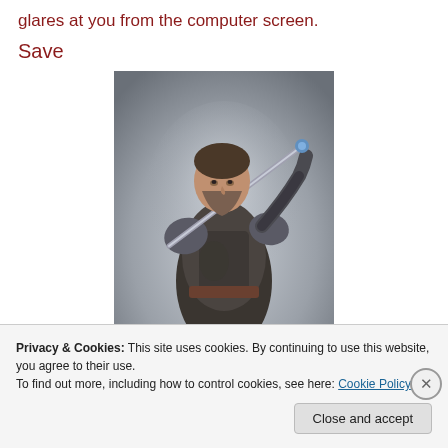glares at you from the computer screen.
Save
[Figure (photo): A man dressed in medieval warrior armor holding a sword over his shoulder, standing against a misty grey background.]
Privacy & Cookies: This site uses cookies. By continuing to use this website, you agree to their use.
To find out more, including how to control cookies, see here: Cookie Policy
Close and accept